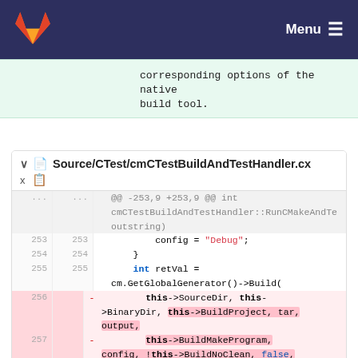Menu (GitLab navigation bar)
corresponding options of the native build tool.
Source/CTest/cmCTestBuildAndTestHandler.cx
@@ -253,9 +253,9 @@ int cmCTestBuildAndTestHandler::RunCMakeAndTe outstring)
253  253      config = "Debug";
254  254      }
255  255      int retVal =
 cm.GetGlobalGenerator()->Build(
256  -         this->SourceDir, this->BinaryDir, this->BuildProject, tar, output,
257  -         this->BuildMakeProgram, config, !this->BuildNoClean, false, false,
258  -         remainingTime);